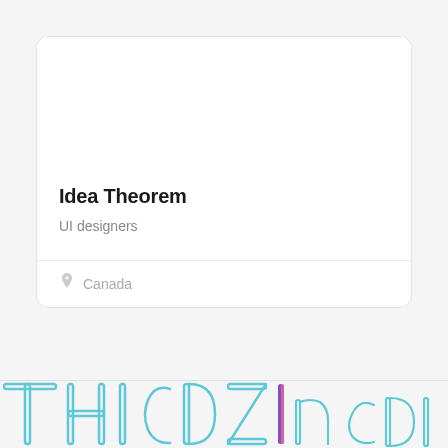Idea Theorem
UI designers
Canada
[Figure (logo): Large outlined display typeface letters in teal/cyan color with colorful vertical bar accent, partially visible at bottom of page]